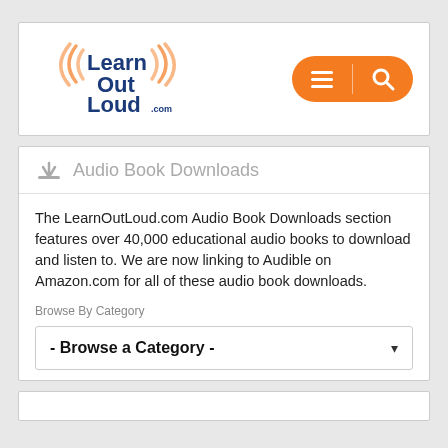[Figure (logo): LearnOutLoud.com logo with orange sound wave arcs and dark blue text]
Audio Book Downloads
The LearnOutLoud.com Audio Book Downloads section features over 40,000 educational audio books to download and listen to. We are now linking to Audible on Amazon.com for all of these audio book downloads.
Browse By Category
- Browse a Category -